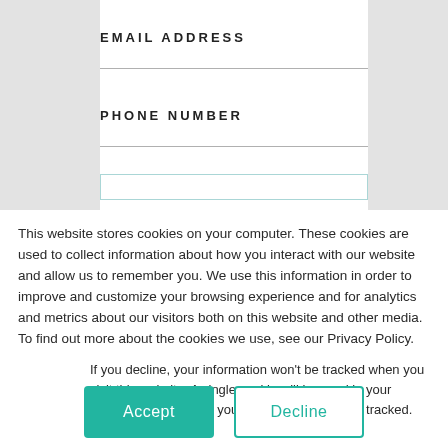EMAIL ADDRESS
PHONE NUMBER
This website stores cookies on your computer. These cookies are used to collect information about how you interact with our website and allow us to remember you. We use this information in order to improve and customize your browsing experience and for analytics and metrics about our visitors both on this website and other media. To find out more about the cookies we use, see our Privacy Policy.
If you decline, your information won't be tracked when you visit this website. A single cookie will be used in your browser to remember your preference not to be tracked.
Accept
Decline